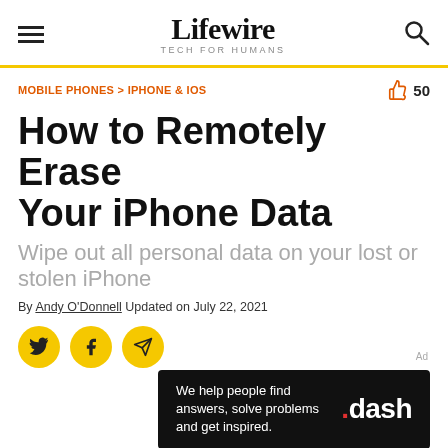Lifewire TECH FOR HUMANS
MOBILE PHONES > IPHONE & IOS   👍 50
How to Remotely Erase Your iPhone Data
Wipe out all personal data on your lost or stolen iPhone
By Andy O'Donnell Updated on July 22, 2021
[Figure (other): Social share buttons: Twitter, Facebook, and email/share icons in yellow circles]
[Figure (other): Advertisement banner: black background with text 'We help people find answers, solve problems and get inspired.' and .dash logo]